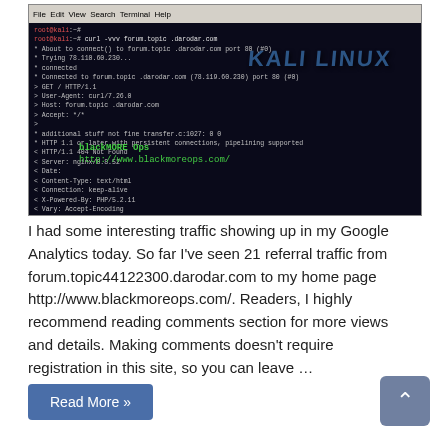[Figure (screenshot): Terminal screenshot showing curl command output against forum.topic*.darodar.com, displaying HTTP headers including 404 Not Found response, server nginx/0.8.52, PHP/5.2.11, with blackMORE Ops watermark and Kali Linux branding overlay]
I had some interesting traffic showing up in my Google Analytics today. So far I've seen 21 referral traffic from forum.topic44122300.darodar.com to my home page http://www.blackmoreops.com/. Readers, I highly recommend reading comments section for more views and details. Making comments doesn't require registration in this site, so you can leave …
Read More »